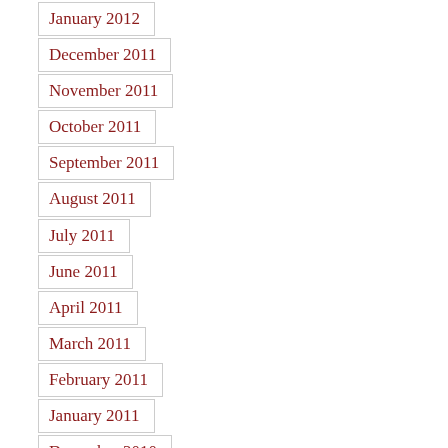January 2012
December 2011
November 2011
October 2011
September 2011
August 2011
July 2011
June 2011
April 2011
March 2011
February 2011
January 2011
December 2010
November 2010
October 2010